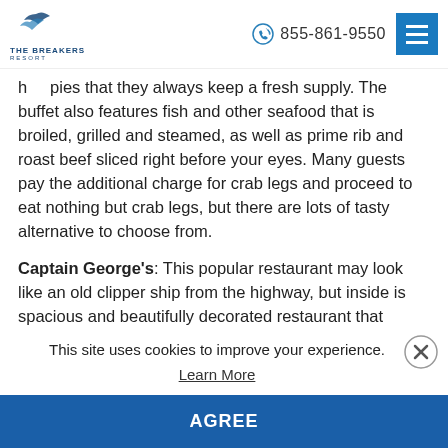THE BREAKERS RESORT | 855-861-9550
h... pies that they always keep a fresh supply. The buffet also features fish and other seafood that is broiled, grilled and steamed, as well as prime rib and roast beef sliced right before your eyes. Many guests pay the additional charge for crab legs and proceed to eat nothing but crab legs, but there are lots of tasty alternative to choose from.
Captain George's: This popular restaurant may look like an old clipper ship from the highway, but inside is spacious and beautifully decorated restaurant that serves some of the best seafood in town. Located across Highway 17 Bypass from Broadway at the Beach, Captain George's offers Maryland-style seafood
This site uses cookies to improve your experience.
Learn More
AGREE